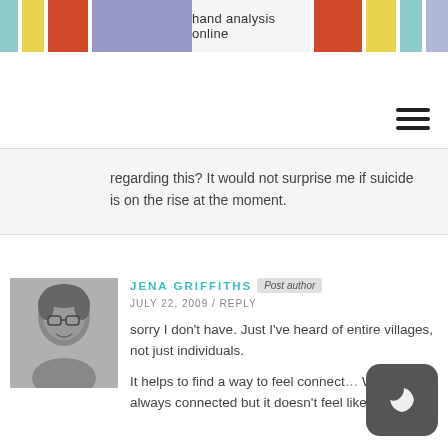hand analysis online
regarding this? It would not surprise me if suicide is on the rise at the moment.
[Figure (photo): Avatar photo of Jena Griffiths, a person with short hair and glasses, grayscale photo]
JENA GRIFFITHS  Post author  JULY 22, 2009 / REPLY
sorry I don't have. Just I've heard of entire villages, not just individuals.

It helps to find a way to feel connect... We are always connected but it doesn't feel like this.